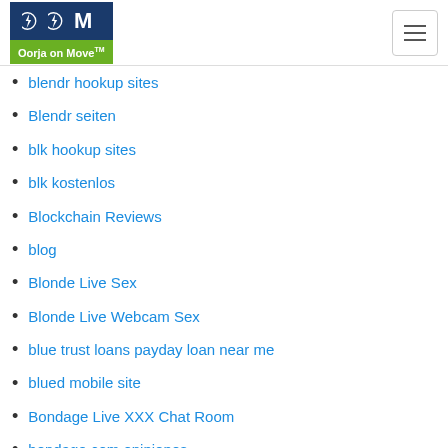Oorja on Move
blendr hookup sites
Blendr seiten
blk hookup sites
blk kostenlos
Blockchain Reviews
blog
Blonde Live Sex
Blonde Live Webcam Sex
blue trust loans payday loan near me
blued mobile site
Bondage Live XXX Chat Room
bondage.com opiniones
BongaCams Sexy Cam Models
Bookkeeping
Bookofmatches mobile
Bookofsex opinion